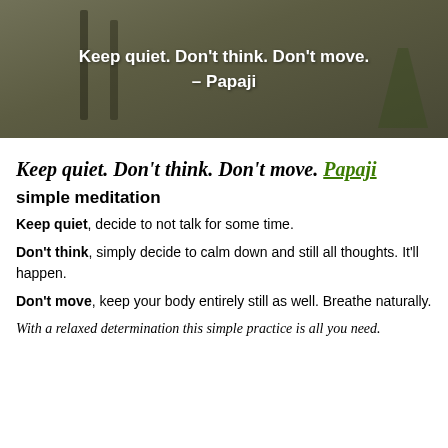[Figure (photo): Photo banner with dark olive/green background showing blurred outdoor scene with text overlay: 'Keep quiet. Don't think. Don't move. – Papaji' in white bold text]
Keep quiet. Don't think. Don't move. Papaji
simple meditation
Keep quiet, decide to not talk for some time.
Don't think, simply decide to calm down and still all thoughts. It'll happen.
Don't move, keep your body entirely still as well. Breathe naturally.
With a relaxed determination this simple practice is all you need.